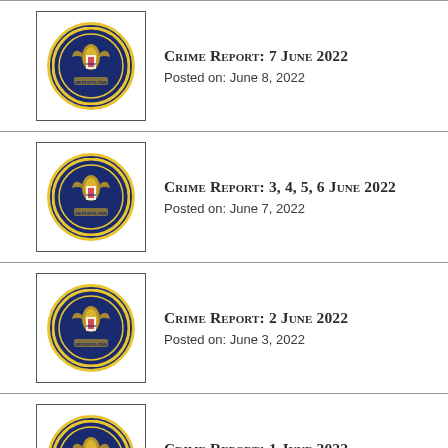Crime Report: 7 June 2022
Posted on: June 8, 2022
Crime Report: 3, 4, 5, 6 June 2022
Posted on: June 7, 2022
Crime Report: 2 June 2022
Posted on: June 3, 2022
Crime Report: 1 June 2022
Posted on: June 2, 2022
Crime Report: 31 May 2022
Posted on: June 1, 2022
Crime Report: 27, 28, 29, 30 May